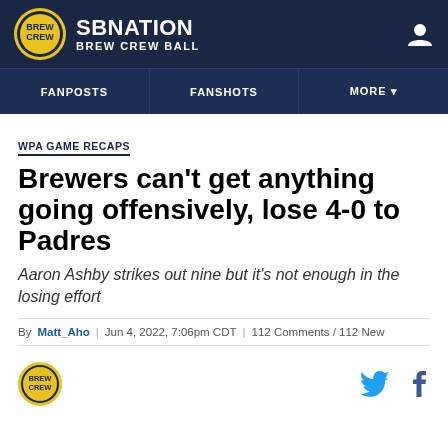SB NATION BREW CREW BALL
FANPOSTS | FANSHOTS | MORE
WPA GAME RECAPS
Brewers can’t get anything going offensively, lose 4-0 to Padres
Aaron Ashby strikes out nine but it’s not enough in the losing effort
By Matt_Aho | Jun 4, 2022, 7:06pm CDT | 112 Comments / 112 New